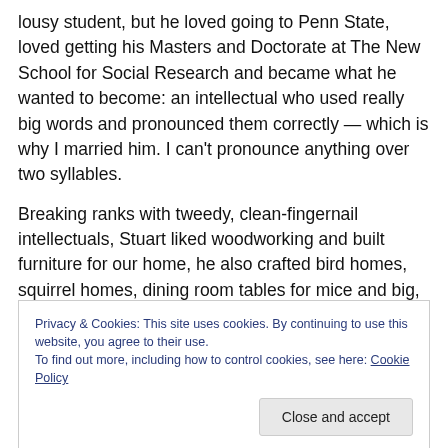lousy student, but he loved going to Penn State, loved getting his Masters and Doctorate at The New School for Social Research and became what he wanted to become: an intellectual who used really big words and pronounced them correctly — which is why I married him. I can't pronounce anything over two syllables.
Breaking ranks with tweedy, clean-fingernail intellectuals, Stuart liked woodworking and built furniture for our home, he also crafted bird homes, squirrel homes, dining room tables for mice and big, outdoor wood sculptures in the
Privacy & Cookies: This site uses cookies. By continuing to use this website, you agree to their use.
To find out more, including how to control cookies, see here: Cookie Policy